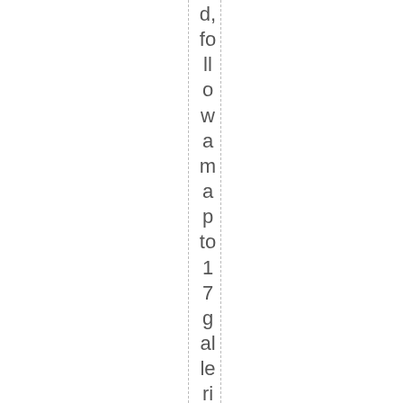d, follow a map to 17 galleries, viewing art